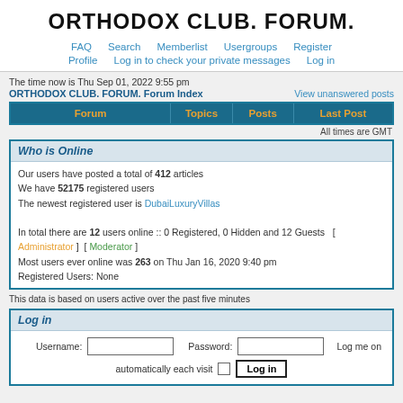ORTHODOX CLUB. FORUM.
FAQ  Search  Memberlist  Usergroups  Register  Profile  Log in to check your private messages  Log in
The time now is Thu Sep 01, 2022 9:55 pm
ORTHODOX CLUB. FORUM. Forum Index   View unanswered posts
| Forum | Topics | Posts | Last Post |
| --- | --- | --- | --- |
All times are GMT
Who is Online
Our users have posted a total of 412 articles
We have 52175 registered users
The newest registered user is DubaiLuxuryVillas

In total there are 12 users online :: 0 Registered, 0 Hidden and 12 Guests  [ Administrator ]  [ Moderator ]
Most users ever online was 263 on Thu Jan 16, 2020 9:40 pm
Registered Users: None
This data is based on users active over the past five minutes
Log in
Username: [input]  Password: [input]  Log me on automatically each visit  [Log in button]